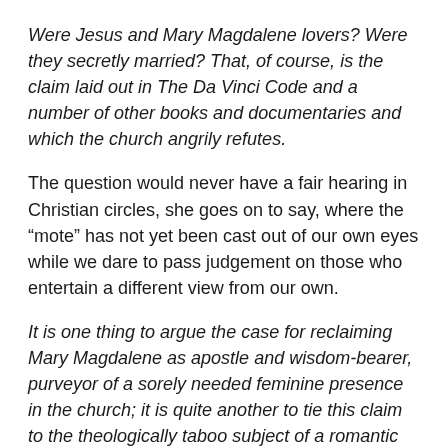Were Jesus and Mary Magdalene lovers? Were they secretly married? That, of course, is the claim laid out in The Da Vinci Code and a number of other books and documentaries and which the church angrily refutes.
The question would never have a fair hearing in Christian circles, she goes on to say, where the “mote” has not yet been cast out of our own eyes while we dare to pass judgement on those who entertain a different view from our own.
It is one thing to argue the case for reclaiming Mary Magdalene as apostle and wisdom-bearer, purveyor of a sorely needed feminine presence in the church; it is quite another to tie this claim to the theologically taboo subject of a romantic involvement with Jesus. Two-thousand years of dogma and tradition have left the field so thoroughly